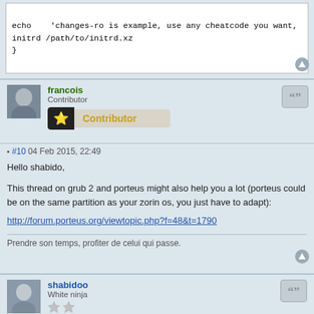echo    'changes-ro is example, use any cheatcode you want,
initrd /path/to/initrd.xz
}
You have mind and feelings. Be wise and clever.
francois
Contributor
Contributor
#10 04 Feb 2015, 22:49
Hello shabido,

This thread on grub 2 and porteus might also help you a lot (porteus could be on the same partition as your zorin os, you just have to adapt):
http://forum.porteus.org/viewtopic.php?f=48&t=1790
Prendre son temps, profiter de celui qui passe.
shabidoo
White ninja